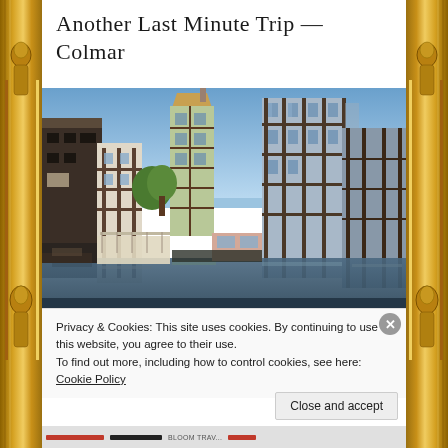Another Last Minute Trip — Colmar
[Figure (photo): Photograph of Colmar's Little Venice canal district showing colorful half-timbered Alsatian buildings lining the waterway, with reflections in the water, blue sky, and green trees visible. Photo taken from a bridge looking down the canal.]
Privacy & Cookies: This site uses cookies. By continuing to use this website, you agree to their use.
To find out more, including how to control cookies, see here: Cookie Policy
Close and accept
BLOOM TRAV...